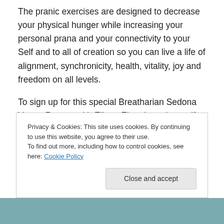The pranic exercises are designed to decrease your physical hunger while increasing your personal prana and your connectivity to your Self and to all of creation so you can live a life of alignment, synchronicity, health, vitality, joy and freedom on all levels.
To sign up for this special Breatharian Sedona Vortex Retreat with Elitom El-amin and myself, contact me HERE.
In loving service, Shana 🙏❤️
Privacy & Cookies: This site uses cookies. By continuing to use this website, you agree to their use. To find out more, including how to control cookies, see here: Cookie Policy
Close and accept
[Figure (photo): Partial photo strip visible at the bottom of the page, showing people outdoors]